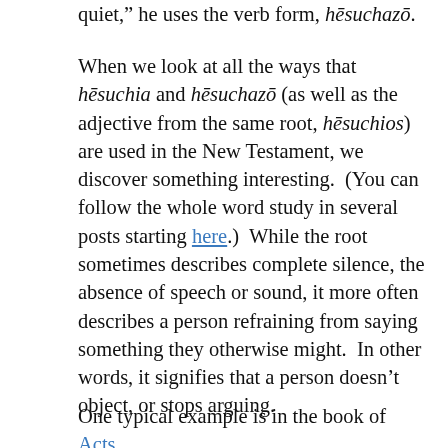quiet,” he uses the verb form, hēsuchazō.
When we look at all the ways that hēsuchia and hēsuchazō (as well as the adjective from the same root, hēsuchios) are used in the New Testament, we discover something interesting. (You can follow the whole word study in several posts starting here.) While the root sometimes describes complete silence, the absence of speech or sound, it more often describes a person refraining from saying something they otherwise might. In other words, it signifies that a person doesn’t object, or stops arguing.
One typical example is in the book of Acts. After the apostles in Jerusalem heard Peter’s